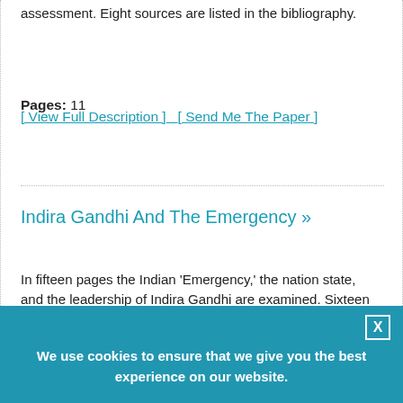assessment. Eight sources are listed in the bibliography.
Pages: 11
[ View Full Description ]   [ Send Me The Paper ]
Indira Gandhi And The Emergency »
In fifteen pages the Indian 'Emergency,' the nation state, and the leadership of Indira Gandhi are examined. Sixteen sources are cited in the bibliography.
We use cookies to ensure that we give you the best experience on our website.